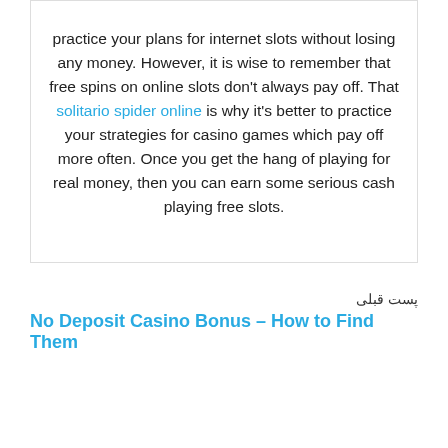practice your plans for internet slots without losing any money. However, it is wise to remember that free spins on online slots don't always pay off. That solitario spider online is why it's better to practice your strategies for casino games which pay off more often. Once you get the hang of playing for real money, then you can earn some serious cash playing free slots.
پست قبلی
No Deposit Casino Bonus – How to Find Them